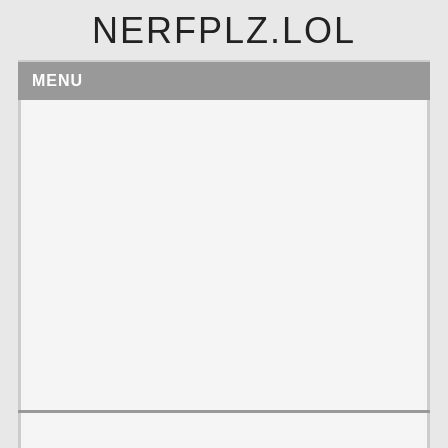NERFPLZ.LOL
MENU
[Figure (other): Large blank/empty content area placeholder on a website page]
Comments  Community  Privacy Policy